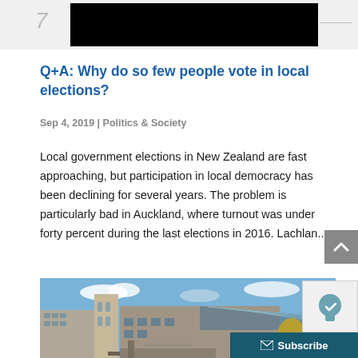[Figure (screenshot): Top navigation bar with black redacted banner and decorative slash element]
Q+A: Why do so few people vote in local elections?
Sep 4, 2019 | Politics & Society
Local government elections in New Zealand are fast approaching, but participation in local democracy has been declining for several years. The problem is particularly bad in Auckland, where turnout was under forty percent during the last elections in 2016. Lachlan...
[Figure (photo): Exterior photograph of a government or civic building under blue sky with clouds]